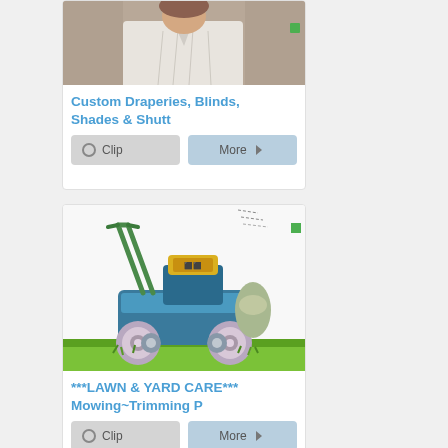[Figure (photo): Partial photo of a person in a white shirt, cropped at chest/shoulder level]
Custom Draperies, Blinds, Shades & Shutt
[Figure (illustration): Colorful illustrated image of a push lawn mower on green grass]
***LAWN & YARD CARE*** Mowing~Trimming P
[Figure (photo): Partial image at bottom, appears to show a tool or implement, partially cut off]